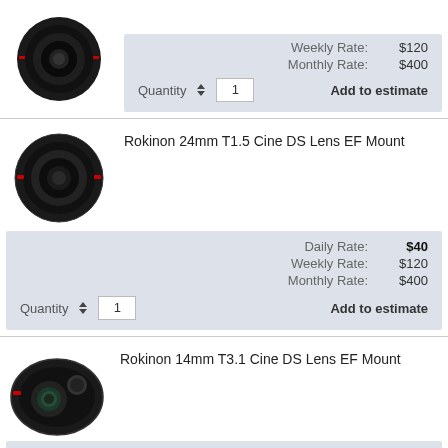[Figure (photo): Rokinon lens product image (partial, top of page)]
Weekly Rate: $120
Monthly Rate: $400
Add to estimate
Quantity 1
[Figure (photo): Rokinon 24mm T1.5 Cine DS Lens EF Mount product image]
Rokinon 24mm T1.5 Cine DS Lens EF Mount
Daily Rate: $40
Weekly Rate: $120
Monthly Rate: $400
Add to estimate
Quantity 1
[Figure (photo): Rokinon 14mm T3.1 Cine DS Lens EF Mount product image]
Rokinon 14mm T3.1 Cine DS Lens EF Mount
Daily Rate: $40
Weekly Rate: $120
Monthly Rate: $400
Add to estimate
Quantity 1